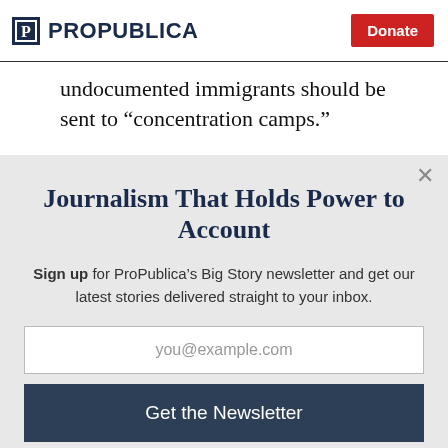ProPublica | Donate
undocumented immigrants should be sent to “concentration camps.”
Journalism That Holds Power to Account
Sign up for ProPublica’s Big Story newsletter and get our latest stories delivered straight to your inbox.
you@example.com
Get the Newsletter
No thanks, I’m all set
This site is protected by reCAPTCHA and the Google Privacy Policy and Terms of Service apply.